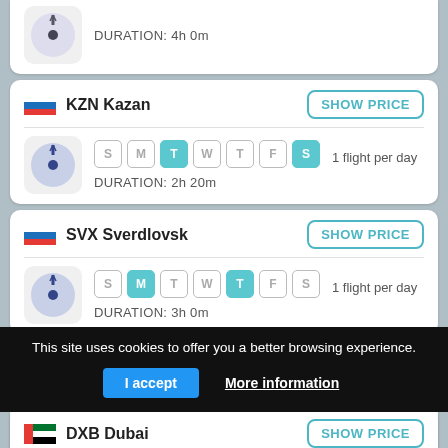DURATION: 4h 0m
KZN Kazan — SHOW PRICE — S M T W T F S — 1 flight per day — DURATION: 2h 20m
SVX Sverdlovsk — SHOW PRICE — S M T W T F S — 1 flight per day — DURATION: 3h 0m
TAS Tashkent — SHOW PRICE — S M T W T F S — 1 flight per day
This site uses cookies to offer you a better browsing experience. I accept  More information
DXB Dubai — SHOW PRICE